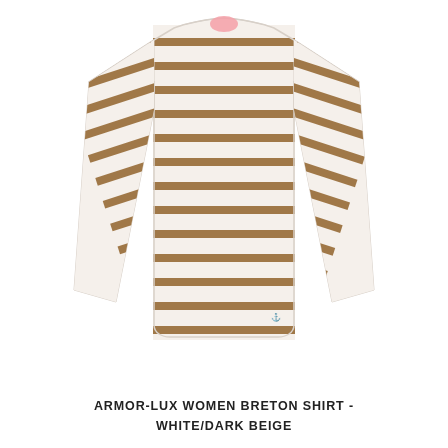[Figure (photo): A women's long-sleeve Breton striped shirt laid flat on a white background. The shirt features alternating horizontal stripes of cream/white and tan/dark beige. It has a boat neck, long sleeves, and a small gold anchor logo near the bottom right hem. A small pink label is visible at the back neck.]
ARMOR-LUX WOMEN BRETON SHIRT - WHITE/DARK BEIGE